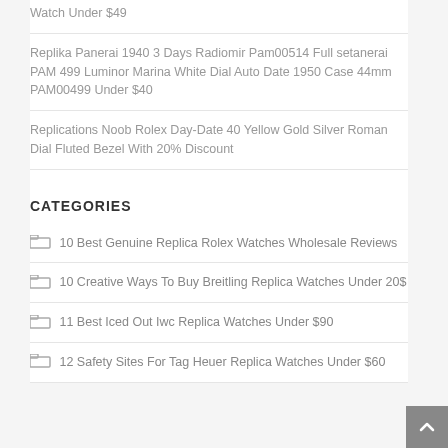Watch Under $49
Replika Panerai 1940 3 Days Radiomir Pam00514 Full setanerai PAM 499 Luminor Marina White Dial Auto Date 1950 Case 44mm PAM00499 Under $40
Replications Noob Rolex Day-Date 40 Yellow Gold Silver Roman Dial Fluted Bezel With 20% Discount
CATEGORIES
10 Best Genuine Replica Rolex Watches Wholesale Reviews
10 Creative Ways To Buy Breitling Replica Watches Under 20$
11 Best Iced Out Iwc Replica Watches Under $90
12 Safety Sites For Tag Heuer Replica Watches Under $60